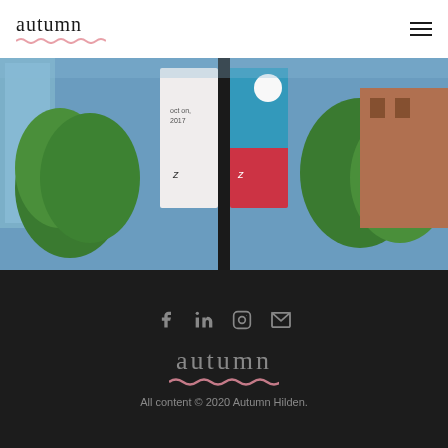autumn
[Figure (photo): Street-level photo showing banners on a lamp post with colorful geometric designs, surrounded by green trees and urban buildings in the background]
autumn — All content © 2020 Autumn Hilden.